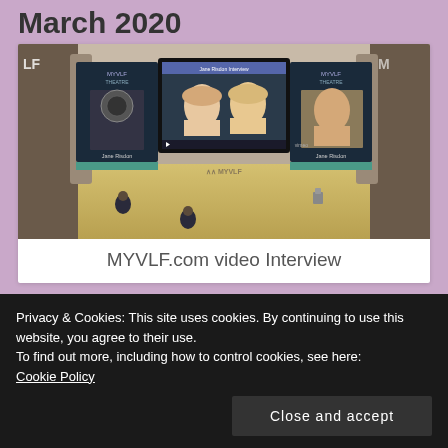March 2020
[Figure (screenshot): Screenshot of a virtual literary festival theatre environment (MYVLF.com) showing a 3D auditorium with banners and a video interview with Jane Risdon playing on a central screen]
MYVLF.com video Interview
Privacy & Cookies: This site uses cookies. By continuing to use this website, you agree to their use.
To find out more, including how to control cookies, see here:
Cookie Policy
Close and accept